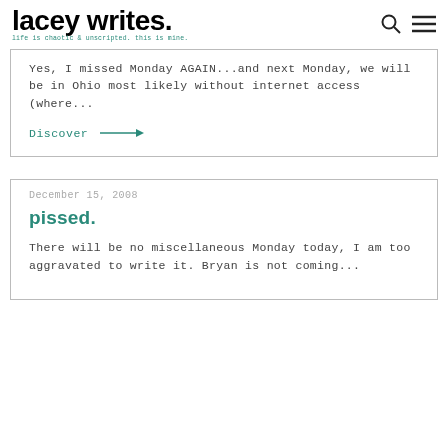lacey writes. life is chaotic & unscripted. this is mine.
Yes, I missed Monday AGAIN...and next Monday, we will be in Ohio most likely without internet access (where...
Discover →
December 15, 2008
pissed.
There will be no miscellaneous Monday today, I am too aggravated to write it. Bryan is not coming...